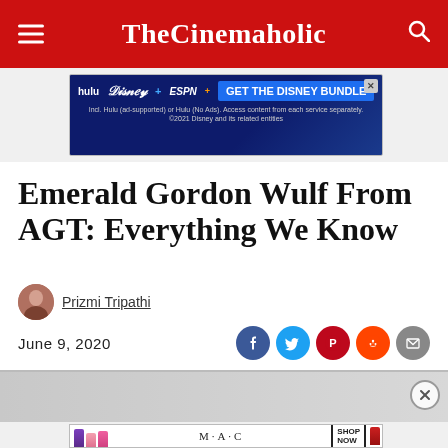TheCinemaholic
[Figure (infographic): Disney Bundle advertisement banner with Hulu, Disney+, ESPN+ logos and 'GET THE DISNEY BUNDLE' call to action]
Emerald Gordon Wulf From AGT: Everything We Know
Prizmi Tripathi
June 9, 2020
[Figure (infographic): Social share icons: Facebook, Twitter, Pinterest, Reddit, Email]
[Figure (photo): Article featured image (partially visible, light gray background)]
[Figure (infographic): MAC cosmetics advertisement showing colored lipsticks with MAC logo and SHOP NOW button]